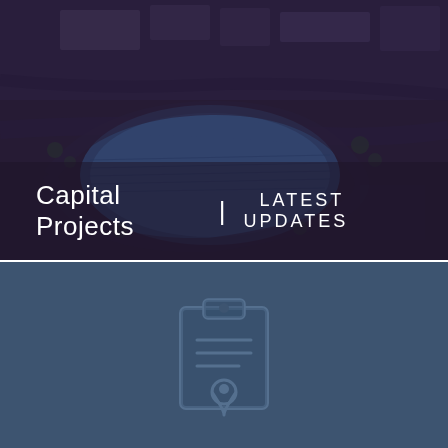[Figure (photo): Aerial view of a municipal facility with a large blue solar panel or water feature area surrounded by pathways, trees, and parking lots, overlaid with a dark purple tint]
Capital Projects  |  LATEST UPDATES
[Figure (illustration): Clipboard with checklist lines and a location pin icon, rendered as a muted blue icon on a steel blue background]